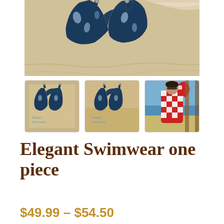[Figure (photo): Main product photo showing a dark navy blue one-piece swimsuit with white tropical/animal print pattern, photographed on a sandy beach background from above, partial view showing the bottom portion of the swimsuit]
[Figure (photo): Three thumbnail images: first two show the full navy one-piece swimsuit with Elegant Swimwear text on sandy beach background, third shows a woman wearing a red and white checkered cover-up by the water]
Elegant Swimwear one piece
$49.99 – $54.50